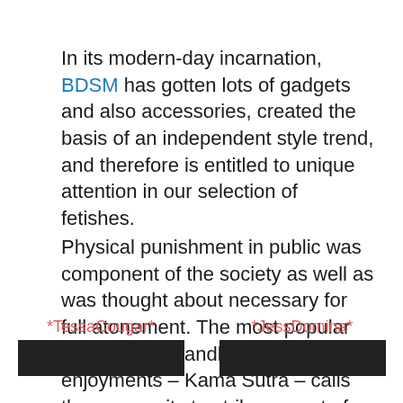In its modern-day incarnation, BDSM has gotten lots of gadgets and also accessories, created the basis of an independent style trend, and therefore is entitled to unique attention in our selection of fetishes.
Physical punishment in public was component of the society as well as was thought about necessary for full atonement. The most popular and also old handbook of sexual enjoyments – Kama Sutra – calls the propensity to strike as part of love enjoyment.
*TessaCougar*    *JessDomina*